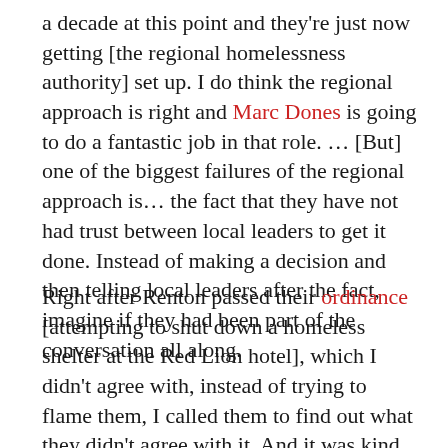a decade at this point and they're just now getting [the regional homelessness authority] set up. I do think the regional approach is right and Marc Dones is going to do a fantastic job in that role. … [But] one of the biggest failures of the regional approach is… the fact that they have not had trust between local leaders to get it done. Instead of making a decision and then telling local leaders after the fact, imagine if they had been part of the conversation all along.
Right after Renton passed their ordinance [attempting to shut down a homeless shelter at the Red Lion hotel], which I didn't agree with, instead of trying to flame them, I called them to find out what they didn't agree with it. And it was kind of eye-opening. While they supported having the facility...